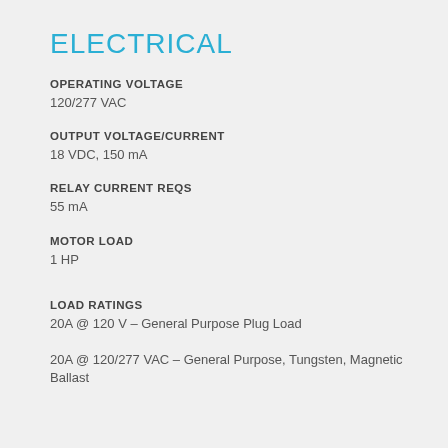ELECTRICAL
OPERATING VOLTAGE
120/277 VAC
OUTPUT VOLTAGE/CURRENT
18 VDC, 150 mA
RELAY CURRENT REQS
55 mA
MOTOR LOAD
1 HP
LOAD RATINGS
20A @ 120 V – General Purpose Plug Load
20A @ 120/277 VAC – General Purpose, Tungsten, Magnetic Ballast